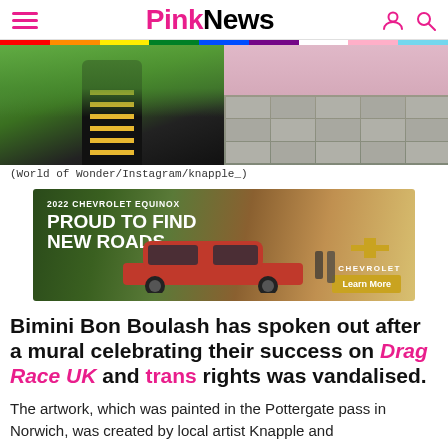PinkNews
[Figure (photo): Two photos side by side: left shows legs wearing black lace-up boots with green outfit, right shows a pavement/mural scene with pink wall in background]
(World of Wonder/Instagram/knapple_)
[Figure (photo): Advertisement: 2022 Chevrolet Equinox - Proud to Find New Roads, with red SUV image and Learn More button]
Bimini Bon Boulash has spoken out after a mural celebrating their success on Drag Race UK and trans rights was vandalised.
The artwork, which was painted in the Pottergate pass in Norwich, was created by local artist Knapple and